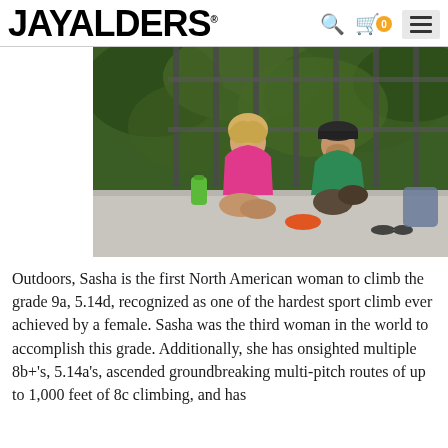JAYALDERS
[Figure (photo): Two people sitting on the ground outdoors near a metal fence with green foliage behind them. A woman in a pink top with blonde hair and a man in a green shirt wearing a dark cap, appearing to be in conversation after a climbing session. A green water bottle and sunglasses are visible nearby.]
Outdoors, Sasha is the first North American woman to climb the grade 9a, 5.14d, recognized as one of the hardest sport climb ever achieved by a female. Sasha was the third woman in the world to accomplish this grade. Additionally, she has onsighted multiple 8b+'s, 5.14a's, ascended groundbreaking multi-pitch routes of up to 1,000 feet of 8c climbing, and has